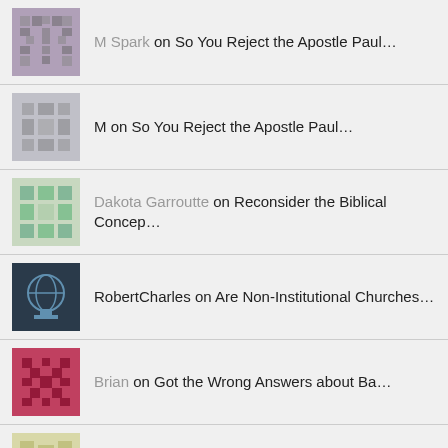M Spark on So You Reject the Apostle Paul...
M on So You Reject the Apostle Paul...
Dakota Garroutte on Reconsider the Biblical Concep...
RobertCharles on Are Non-Institutional Churches...
Brian on Got the Wrong Answers about Ba...
Mark on When Does a Day Begin and End...
date of new testamen... on Early Dates for the Books of t...
Bob Seidensticker on Twelve Reasons Why Atheism Can...
Darren J. Clark on Are Souls Annihilated in Hell?